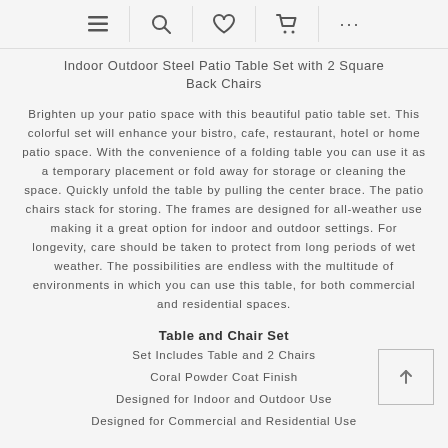≡ 🔍 ♥ 🛒 ...
Indoor Outdoor Steel Patio Table Set with 2 Square Back Chairs
Brighten up your patio space with this beautiful patio table set. This colorful set will enhance your bistro, cafe, restaurant, hotel or home patio space. With the convenience of a folding table you can use it as a temporary placement or fold away for storage or cleaning the space. Quickly unfold the table by pulling the center brace. The patio chairs stack for storing. The frames are designed for all-weather use making it a great option for indoor and outdoor settings. For longevity, care should be taken to protect from long periods of wet weather. The possibilities are endless with the multitude of environments in which you can use this table, for both commercial and residential spaces.
Table and Chair Set
Set Includes Table and 2 Chairs
Coral Powder Coat Finish
Designed for Indoor and Outdoor Use
Designed for Commercial and Residential Use